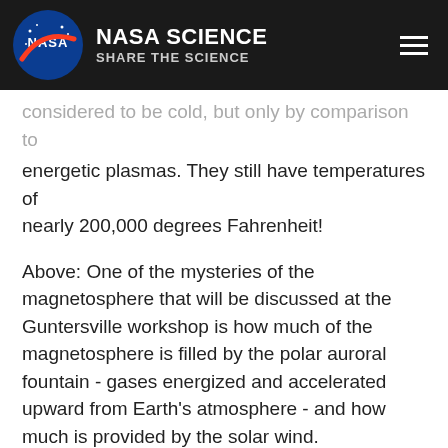NASA SCIENCE SHARE THE SCIENCE
considered to be cold, but only by comparison to energetic plasmas. They still have temperatures of nearly 200,000 degrees Fahrenheit!
Above: One of the mysteries of the magnetosphere that will be discussed at the Guntersville workshop is how much of the magnetosphere is filled by the polar auroral fountain - gases energized and accelerated upward from Earth's atmosphere - and how much is provided by the solar wind.
"They were somewhat ignored because early researchers tended to think that the behaviors of thermal plasmas were easily explained, so they focused on the behavior of the more energetic